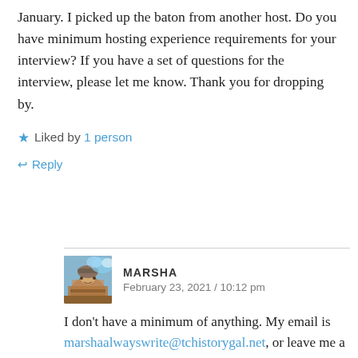January. I picked up the baton from another host. Do you have minimum hosting experience requirements for your interview? If you have a set of questions for the interview, please let me know. Thank you for dropping by.
★ Liked by 1 person
↩ Reply
MARSHA — February 23, 2021 / 10:12 pm
I don't have a minimum of anything. My email is marshaalwayswrite@tchistorygal.net, or leave me a message in my contact message page. I look forward to hearing from you, Natalie. 🙂